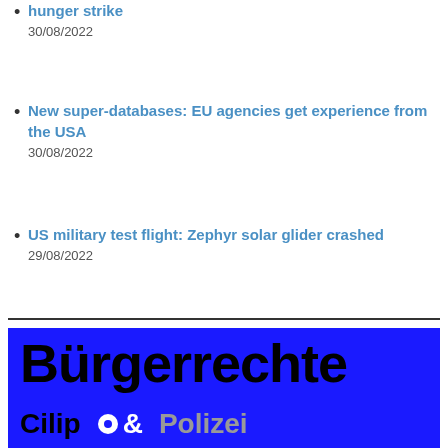hunger strike
30/08/2022
New super-databases: EU agencies get experience from the USA
30/08/2022
US military test flight: Zephyr solar glider crashed
29/08/2022
[Figure (illustration): Blue banner/logo for 'Bürgerrechte & Polizei Cilip' publication — bold black text 'Bürgerrechte' on bright blue background, with 'Cilip' and '& Polizei' in lower section]